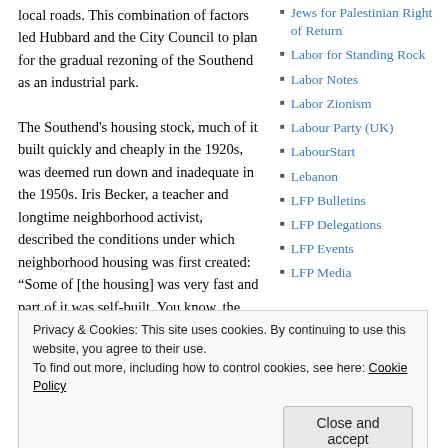local roads. This combination of factors led Hubbard and the City Council to plan for the gradual rezoning of the Southend as an industrial park.
Jews for Palestinian Right of Return
Labor for Standing Rock
Labor Notes
Labor Zionism
Labour Party (UK)
LabourStart
Lebanon
LFP Bulletins
LFP Delegations
LFP Events
LFP Media
The Southend's housing stock, much of it built quickly and cheaply in the 1920s, was deemed run down and inadequate in the 1950s. Iris Becker, a teacher and longtime neighborhood activist, described the conditions under which neighborhood housing was first created: “Some of [the housing] was very fast and part of it was self-built. You know, the people who were
Privacy & Cookies: This site uses cookies. By continuing to use this website, you agree to their use.
To find out more, including how to control cookies, see here: Cookie Policy
Close and accept
neighborhood in 1940 by Sociologist Albert
Netherlands